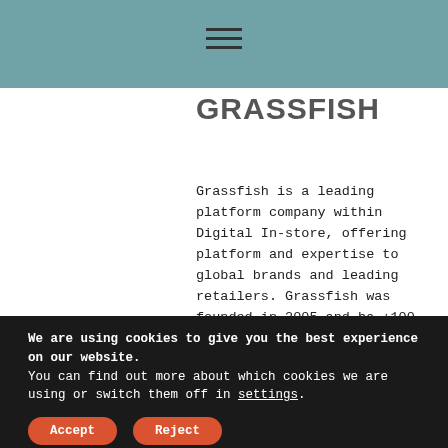GRASSFISH
Grassfish is a leading platform company within Digital In-store, offering platform and expertise to global brands and leading retailers. Grassfish was founded in 2005 and ha +100 employees in Sweden, Austria, Germany and UK.
We are using cookies to give you the best experience on our website.
You can find out more about which cookies we are using or switch them off in settings.
Accept
Reject